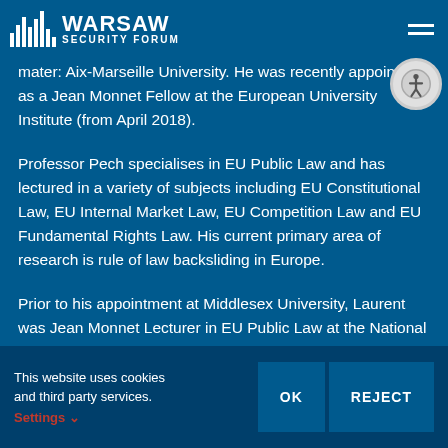Warsaw Security Forum
mater: Aix-Marseille University. He was recently appointed as a Jean Monnet Fellow at the European University Institute (from April 2018).
Professor Pech specialises in EU Public Law and has lectured in a variety of subjects including EU Constitutional Law, EU Internal Market Law, EU Competition Law and EU Fundamental Rights Law. His current primary area of research is rule of law backsliding in Europe.
Prior to his appointment at Middlesex University, Laurent was Jean Monnet Lecturer in EU Public Law at the National University of Ireland Galway. During the course of his academic career, Laurent also
This website uses cookies and third party services.
Settings ∨
OK    REJECT